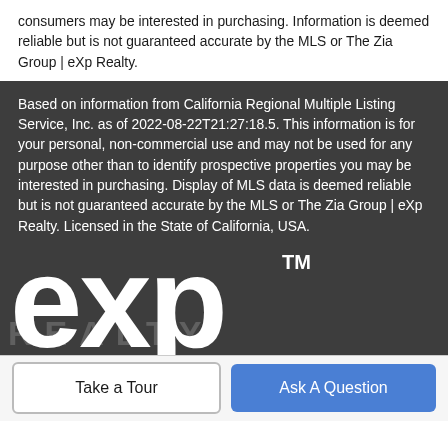consumers may be interested in purchasing. Information is deemed reliable but is not guaranteed accurate by the MLS or The Zia Group | eXp Realty.
Based on information from California Regional Multiple Listing Service, Inc. as of 2022-08-22T21:27:18.5. This information is for your personal, non-commercial use and may not be used for any purpose other than to identify prospective properties you may be interested in purchasing. Display of MLS data is deemed reliable but is not guaranteed accurate by the MLS or The Zia Group | eXp Realty. Licensed in the State of California, USA.
[Figure (logo): eXp Realty logo — large white 'exp' text with TM mark on dark grey background, with faint 'REALTY' text watermark below]